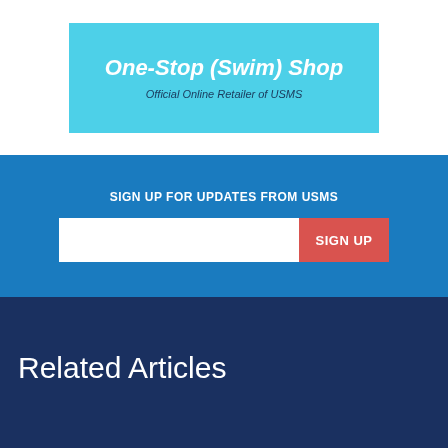[Figure (logo): One-Stop (Swim) Shop banner with cyan background, bold italic white title text and dark italic subtitle 'Official Online Retailer of USMS']
SIGN UP FOR UPDATES FROM USMS
SIGN UP (button with email input field)
Related Articles
[Figure (photo): Outdoor photo showing palm trees against a blue sky, partially visible at bottom of page]